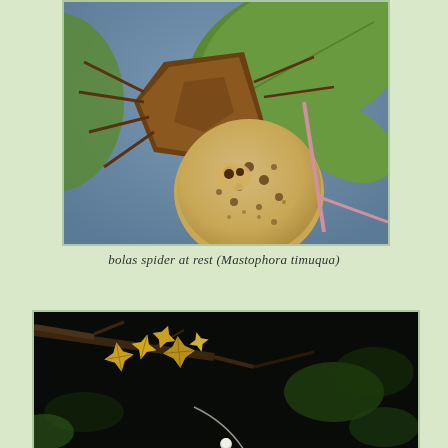[Figure (photo): Close-up macro photograph of a bolas spider (Mastophora timuqua) at rest on a plant. The spider has a large, round, speckled tan/beige abdomen with dark spots, and a dark brown angular cephalothorax. Green leaves are visible in the background with a blue-grey blurred background.]
bolas spider at rest (Mastophora timuqua)
[Figure (photo): Nighttime photograph of a dark scene with green foliage and small yellow-orange maple-like leaves visible on branches against a very dark background. A small white spherical object (possibly a bolas) is partially visible at the bottom center.]